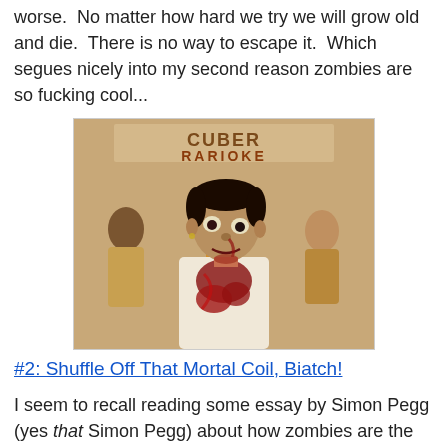worse.  No matter how hard we try we will grow old and die.  There is no way to escape it.  Which segues nicely into my second reason zombies are so fucking cool...
[Figure (photo): A zombie movie scene showing a man in a blood-soaked white shirt looking menacingly at the camera, with other people standing in the background. The image has a warm sepia/orange tone.]
#2: Shuffle Off That Mortal Coil, Biatch!
I seem to recall reading some essay by Simon Pegg (yes that Simon Pegg) about how zombies are the physical embodiment of death though of course now I can't find it to save my life.  And in retrospect I'm not even 100% sure it was Simon Pegg.  I'm not sure if it's my age catching up to me or the brain damage caused by that small dose of